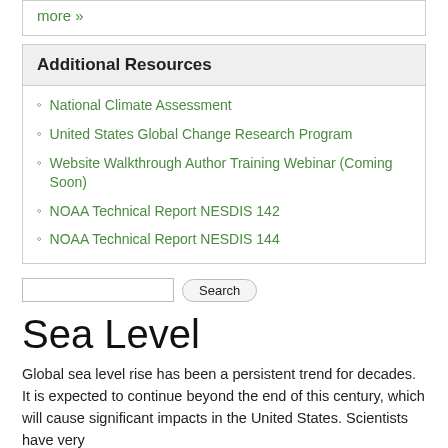more »
Additional Resources
National Climate Assessment
United States Global Change Research Program
Website Walkthrough Author Training Webinar (Coming Soon)
NOAA Technical Report NESDIS 142
NOAA Technical Report NESDIS 144
Sea Level
Global sea level rise has been a persistent trend for decades. It is expected to continue beyond the end of this century, which will cause significant impacts in the United States. Scientists have very